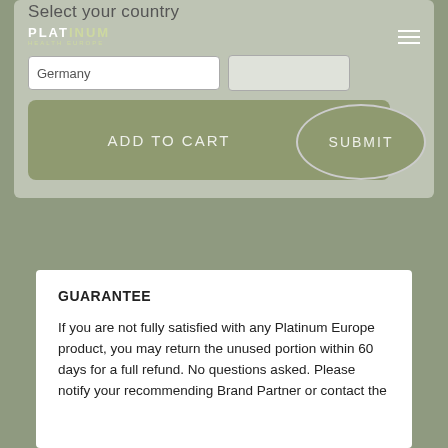Select your country
[Figure (screenshot): Platinum Health Europe website navigation header with logo and hamburger menu icon on olive/gray background]
[Figure (screenshot): Country selection dropdown showing Germany and an Add to Cart button with a Submit oval button overlay]
GUARANTEE
If you are not fully satisfied with any Platinum Europe product, you may return the unused portion within 60 days for a full refund. No questions asked. Please notify your recommending Brand Partner or contact the